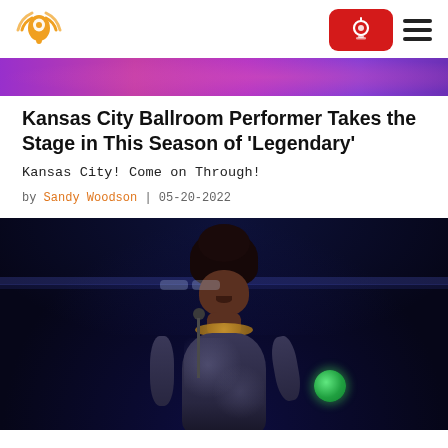Navigation bar with logo, sign-in button, and hamburger menu
[Figure (photo): Cropped top portion of a performer photo with purple/magenta stage background]
Kansas City Ballroom Performer Takes the Stage in This Season of 'Legendary'
Kansas City! Come on Through!
by Sandy Woodson | 05-20-2022
[Figure (photo): Photo of a ballroom performer in a sparkly/glam outfit singing into a microphone on a dark stage with blue lighting, holding a green glowing object in one hand]